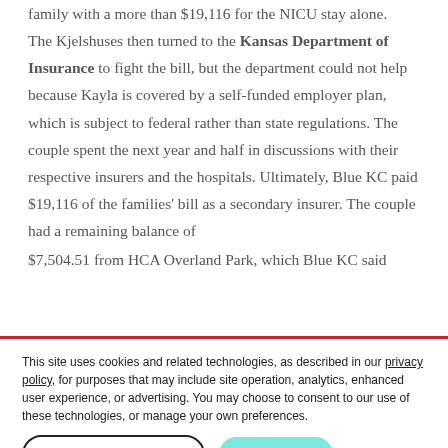family with a more than $19,116 for the NICU stay alone. The Kjelshuses then turned to the Kansas Department of Insurance to fight the bill, but the department could not help because Kayla is covered by a self-funded employer plan, which is subject to federal rather than state regulations. The couple spent the next year and half in discussions with their respective insurers and the hospitals. Ultimately, Blue KC paid $19,116 of the families' bill as a secondary insurer. The couple had a remaining balance of $7,504.51 from HCA Overland Park, which Blue KC said
This site uses cookies and related technologies, as described in our privacy policy, for purposes that may include site operation, analytics, enhanced user experience, or advertising. You may choose to consent to our use of these technologies, or manage your own preferences.